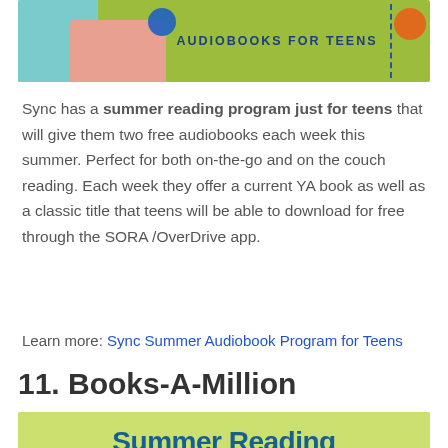[Figure (photo): Banner image showing teens with text 'AUDIOBOOKS FOR TEENS' on a yellow-green background]
Sync has a summer reading program just for teens that will give them two free audiobooks each week this summer. Perfect for both on-the-go and on the couch reading. Each week they offer a current YA book as well as a classic title that teens will be able to download for free through the SORA /OverDrive app.
Learn more: Sync Summer Audiobook Program for Teens
11. Books-A-Million
[Figure (photo): Banner image with yellow-green background showing 'Summer Reading' text in teal blue]